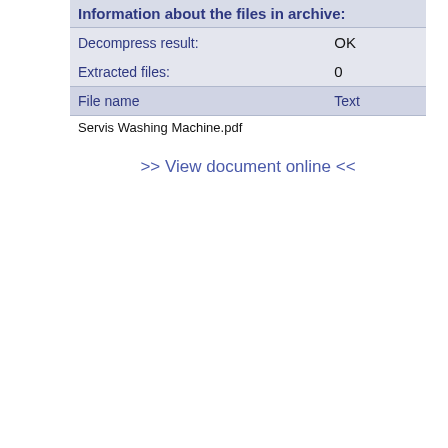Information about the files in archive:
| File name | Text |
| --- | --- |
| Servis Washing Machine.pdf |  |
>> View document online <<